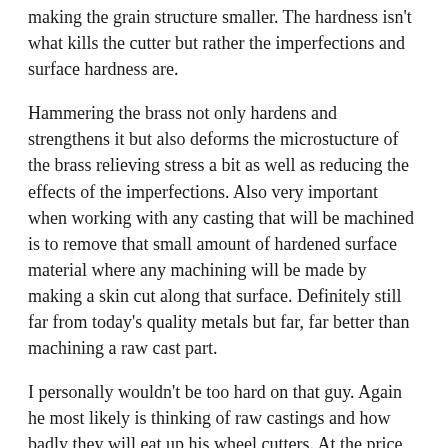making the grain structure smaller. The hardness isn't what kills the cutter but rather the imperfections and surface hardness are.
Hammering the brass not only hardens and strengthens it but also deforms the microstucture of the brass relieving stress a bit as well as reducing the effects of the imperfections. Also very important when working with any casting that will be machined is to remove that small amount of hardened surface material where any machining will be made by making a skin cut along that surface. Definitely still far from today's quality metals but far, far better than machining a raw cast part.
I personally wouldn't be too hard on that guy. Again he most likely is thinking of raw castings and how badly they will eat up his wheel cutters. At the price of cutters these days who can blame him?
True restoration of any antique horological or other demands the closest match possible to original materials and design. If that means a casting of the part is required then so be it. After all, clock and watchmakers made them this way for more than a couple of centuries so why can't we do it now if a good